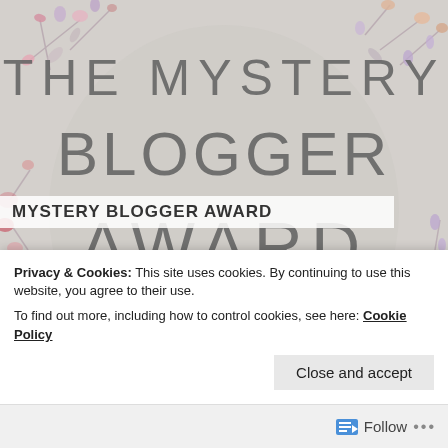[Figure (illustration): Mystery Blogger Award image with floral watercolor wreath border on light gray background, text reading THE MYSTERY BLOGGER AWARD in large handwritten-style font]
MYSTERY BLOGGER AWARD
Privacy & Cookies: This site uses cookies. By continuing to use this website, you agree to their use.
To find out more, including how to control cookies, see here: Cookie Policy
Close and accept
Follow ...